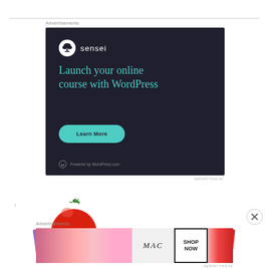Advertisements
[Figure (screenshot): Sensei advertisement on dark navy background. Shows Sensei logo (bonsai tree icon with 'sensei' text), headline 'Launch your online course with WordPress' in teal/green color, a 'Learn More' button in teal, and 'Powered by WordPress.com' footer.]
REPORT THIS AD
[Figure (photo): Partial image of a red tomato visible in the page content area, partially cut off.]
Advertisements
[Figure (screenshot): MAC cosmetics advertisement showing colorful lipsticks on the left (purple, pink, hot pink shades), MAC logo in italic script in center, SHOP NOW box with border, and red lipstick on the right.]
REPORT THIS AD